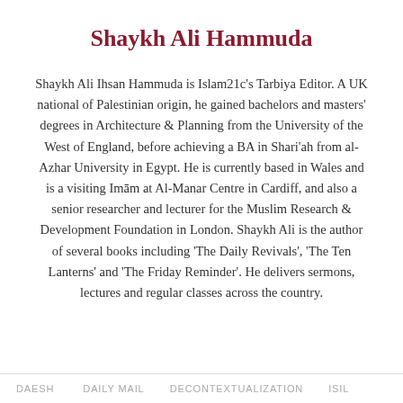Shaykh Ali Hammuda
Shaykh Ali Ihsan Hammuda is Islam21c's Tarbiya Editor. A UK national of Palestinian origin, he gained bachelors and masters' degrees in Architecture & Planning from the University of the West of England, before achieving a BA in Shari'ah from al-Azhar University in Egypt. He is currently based in Wales and is a visiting Imām at Al-Manar Centre in Cardiff, and also a senior researcher and lecturer for the Muslim Research & Development Foundation in London. Shaykh Ali is the author of several books including 'The Daily Revivals', 'The Ten Lanterns' and 'The Friday Reminder'. He delivers sermons, lectures and regular classes across the country.
DAESH   DAILY MAIL   DECONTEXTUALIZATION   ISIL